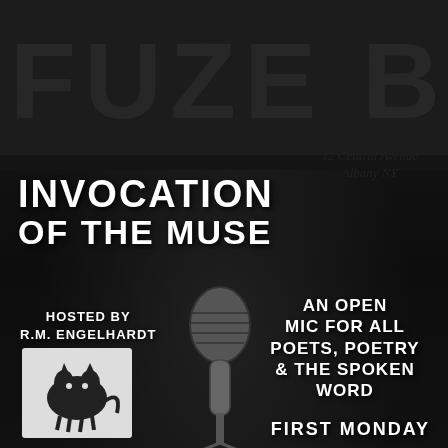FUZE BOX
12 Central Avenue
Albany NY
INVOCATION OF THE MUSE
HOSTED BY
R.M. ENGELHARDT
AN OPEN MIC FOR ALL POETS, POETRY & THE SPOKEN WORD
[Figure (photo): A microphone on a stand against a dark background]
[Figure (logo): Small black and white logo/illustration at bottom left]
FIRST MONDAY